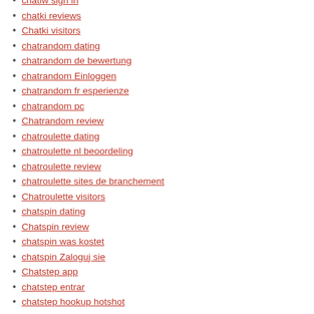chatiw sign in
chatki reviews
Chatki visitors
chatrandom dating
chatrandom de bewertung
chatrandom Einloggen
chatrandom fr esperienze
chatrandom pc
Chatrandom review
chatroulette dating
chatroulette nl beoordeling
chatroulette review
chatroulette sites de branchement
Chatroulette visitors
chatspin dating
Chatspin review
chatspin was kostet
chatspin Zaloguj sie
Chatstep app
chatstep entrar
chatstep hookup hotshot
chatstep hookup sites
Chatstep visitors
chattanooga eros escort
chattanooga escort
Chaturbate Com XXX Web Cams Chat R...